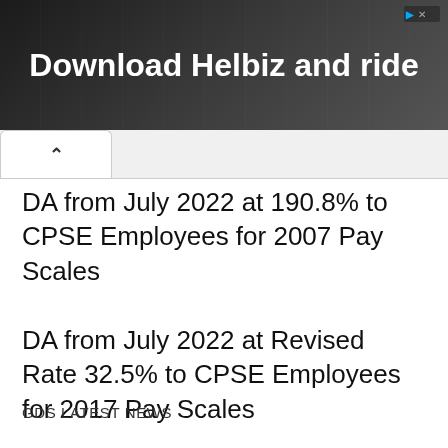[Figure (screenshot): Advertisement banner with dark background showing a person with camera equipment and text 'Download Helbiz and ride' in white bold font with ad icon in top right corner]
DA from July 2022 at 190.8% to CPSE Employees for 2007 Pay Scales
DA from July 2022 at Revised Rate 32.5% to CPSE Employees for 2017 Pay Scales
GDS LATEST NEWS